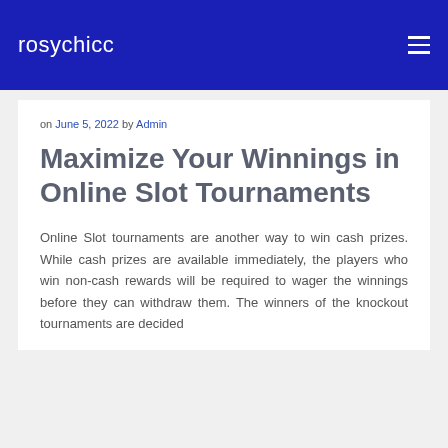rosychicc
on June 5, 2022 by Admin
Maximize Your Winnings in Online Slot Tournaments
Online Slot tournaments are another way to win cash prizes. While cash prizes are available immediately, the players who win non-cash rewards will be required to wager the winnings before they can withdraw them. The winners of the knockout tournaments are decided